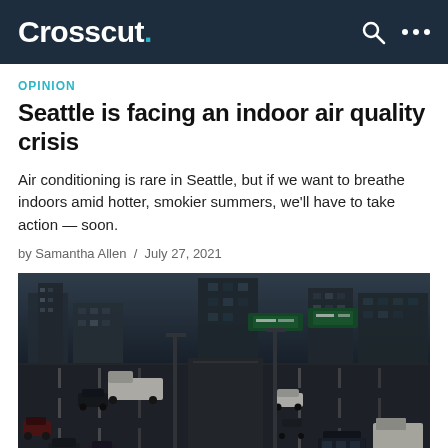Crosscut.
OPINION
Seattle is facing an indoor air quality crisis
Air conditioning is rare in Seattle, but if we want to breathe indoors amid hotter, smokier summers, we'll have to take action — soon.
by Samantha Allen / July 27, 2021
[Figure (photo): Aerial view of a busy Seattle freeway with multiple lanes of traffic including cars and trucks, with city buildings and highway signs visible in the background. The photo has a dark, moody tone.]